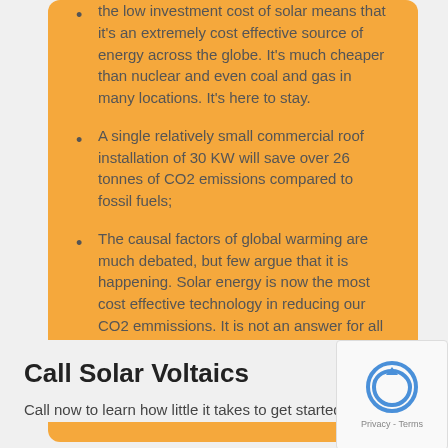the low investment cost of solar means that it's an extremely cost effective source of energy across the globe. It's much cheaper than nuclear and even coal and gas in many locations. It's here to stay.
A single relatively small commercial roof installation of 30 KW will save over 26 tonnes of CO2 emissions compared to fossil fuels;
The causal factors of global warming are much debated, but few argue that it is happening. Solar energy is now the most cost effective technology in reducing our CO2 emmissions. It is not an answer for all of our power needs, but it has a major part to play in our future mitigation of climate change.
Call Solar Voltaics
Call now to learn how little it takes to get started,